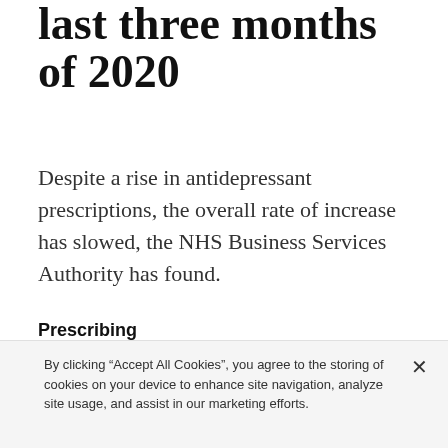last three months of 2020
Despite a rise in antidepressant prescriptions, the overall rate of increase has slowed, the NHS Business Services Authority has found.
Prescribing
08 March 2021. By Julia Robinson.
ADVERTISEMENT
By clicking “Accept All Cookies”, you agree to the storing of cookies on your device to enhance site navigation, analyze site usage, and assist in our marketing efforts.